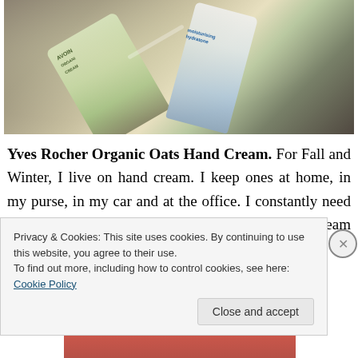[Figure (photo): Photo of two skincare/hand cream tubes – an Avoine Organique cream and a moisturizing hydration cream – lying on a surface with some fabric/items in the background]
Yves Rocher Organic Oats Hand Cream. For Fall and Winter, I live on hand cream. I keep ones at home, in my purse, in my car and at the office. I constantly need some. Yves Rocher has some really good hand cream and this one is pretty good
Privacy & Cookies: This site uses cookies. By continuing to use this website, you agree to their use.
To find out more, including how to control cookies, see here: Cookie Policy
Close and accept